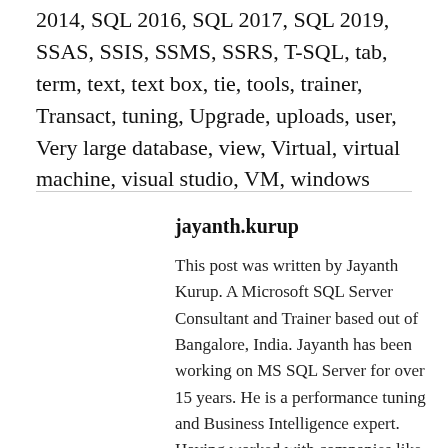2014, SQL 2016, SQL 2017, SQL 2019, SSAS, SSIS, SSMS, SSRS, T-SQL, tab, term, text, text box, tie, tools, trainer, Transact, tuning, Upgrade, uploads, user, Very large database, view, Virtual, virtual machine, visual studio, VM, windows
jayanth.kurup
This post was written by Jayanth Kurup. A Microsoft SQL Server Consultant and Trainer based out of Bangalore, India. Jayanth has been working on MS SQL Server for over 15 years. He is a performance tuning and Business Intelligence expert. Having worked with companies like Microsoft, DELL, Wells Fargo, Thomson Reuters and many other